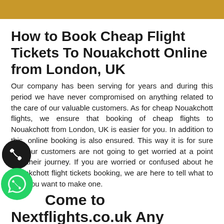[Figure (other): Gold/amber colored horizontal bar at top of page]
How to Book Cheap Flight Tickets To Nouakchott Online from London, UK
Our company has been serving for years and during this period we have never compromised on anything related to the care of our valuable customers. As for cheap Nouakchott flights, we ensure that booking of cheap flights to Nouakchott from London, UK is easier for you. In addition to this, online booking is also ensured. This way it is for sure that our customers are not going to get worried at a point ugh their journey. If you are worried or confused about he Nouakchott flight tickets booking, we are here to tell what to do if you want to make one.
[Figure (illustration): Phone call icon - white phone handset on dark circular background]
[Figure (illustration): WhatsApp icon - white phone handset on green circular background]
Come to Nextflights.co.uk Any Time You Want